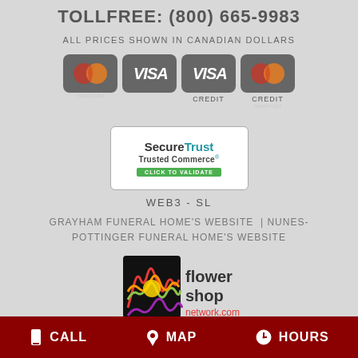TOLLFREE: (800) 665-9983
ALL PRICES SHOWN IN CANADIAN DOLLARS
[Figure (logo): Four payment card icons: Mastercard, Visa, Visa, Mastercard with CREDIT CREDIT labels below]
[Figure (logo): SecureTrust Trusted Commerce Click to Validate badge, white background with blue and green text, border, WEB3-SL label below]
WEB3 - SL
GRAYHAM FUNERAL HOME'S WEBSITE  | NUNES-POTTINGER FUNERAL HOME'S WEBSITE
[Figure (logo): Flower Shop Network logo with colorful flower graphic and text]
CALL   MAP   HOURS